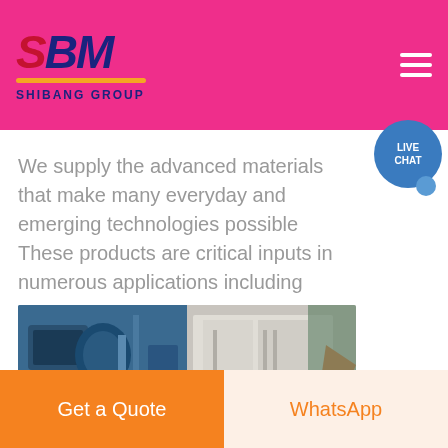SBM SHIBANG GROUP
We supply the advanced materials that make many everyday and emerging technologies possible These products are critical inputs in numerous applications including
[Figure (photo): Industrial machinery photo split into two panels: left side shows blue industrial equipment with pipes and components, right side shows a white/grey industrial enclosure or cabinet in a factory setting with an orange element visible]
Get a Quote
WhatsApp